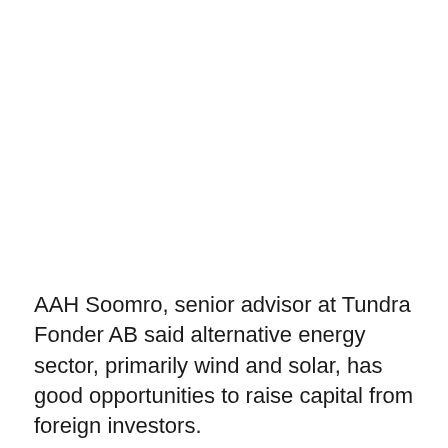AAH Soomro, senior advisor at Tundra Fonder AB said alternative energy sector, primarily wind and solar, has good opportunities to raise capital from foreign investors.
“There are various investment opportunities